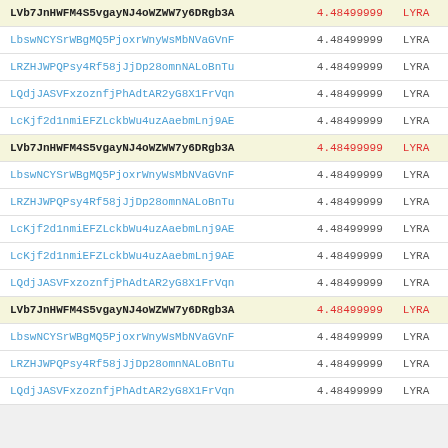| Code | Value | Tag |
| --- | --- | --- |
| LVb7JnHWFM4S5vgayNJ4oWZWW7y6DRgb3A | 4.48499999 | LYRA |
| LbswNCYSrWBgMQ5PjoxrWnyWsMbNVaGVnF | 4.48499999 | LYRA |
| LRZHJWPQPsy4Rf58jJjDp28omnNALoBnTu | 4.48499999 | LYRA |
| LQdjJASVFxzoznfjPhAdtAR2yG8X1FrVqn | 4.48499999 | LYRA |
| LcKjf2d1nmiEFZLckbWu4uzAaebmLnj9AE | 4.48499999 | LYRA |
| LVb7JnHWFM4S5vgayNJ4oWZWW7y6DRgb3A | 4.48499999 | LYRA |
| LbswNCYSrWBgMQ5PjoxrWnyWsMbNVaGVnF | 4.48499999 | LYRA |
| LRZHJWPQPsy4Rf58jJjDp28omnNALoBnTu | 4.48499999 | LYRA |
| LcKjf2d1nmiEFZLckbWu4uzAaebmLnj9AE | 4.48499999 | LYRA |
| LcKjf2d1nmiEFZLckbWu4uzAaebmLnj9AE | 4.48499999 | LYRA |
| LQdjJASVFxzoznfjPhAdtAR2yG8X1FrVqn | 4.48499999 | LYRA |
| LVb7JnHWFM4S5vgayNJ4oWZWW7y6DRgb3A | 4.48499999 | LYRA |
| LbswNCYSrWBgMQ5PjoxrWnyWsMbNVaGVnF | 4.48499999 | LYRA |
| LRZHJWPQPsy4Rf58jJjDp28omnNALoBnTu | 4.48499999 | LYRA |
| LQdjJASVFxzoznfjPhAdtAR2yG8X1FrVqn | 4.48499999 | LYRA |